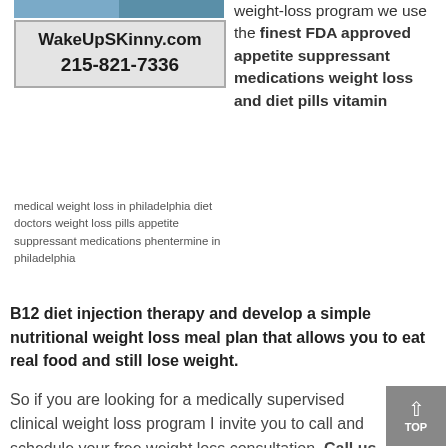[Figure (photo): Photo strip at top showing before/after weight loss subjects]
[Figure (logo): WakeUpSKinny.com logo box with phone number 215-821-7336]
weight-loss program we use the finest FDA approved appetite suppressant medications weight loss and diet pills vitamin
medical weight loss in philadelphia diet doctors weight loss pills appetite suppressant medications phentermine in philadelphia
B12 diet injection therapy and develop a simple nutritional weight loss meal plan that allows you to eat real food and still lose weight.
So if you are looking for a medically supervised clinical weight loss program I invite you to call and schedule your free weight loss consultation. Call us now at 215-821-7336 and Lisa will schedule you for your free weight loss consultation.